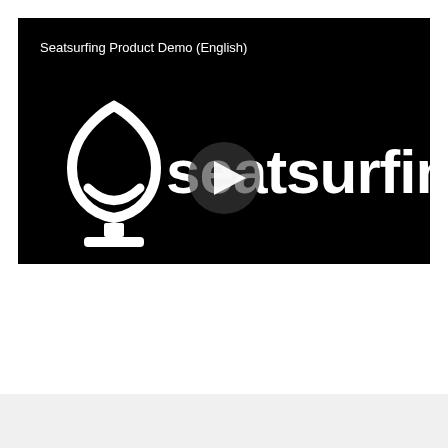[Figure (screenshot): Video thumbnail for 'Seatsurfing Product Demo (English)' showing the Seatsurfing logo — a white spade/teardrop shaped icon with a seat silhouette inside, on a black background — alongside the bold white text 'seatsurfing'. A semi-transparent play button overlay is visible in the center. The video title 'Seatsurfing Product Demo (English)' is shown in white text at the top-left of the black video frame.]